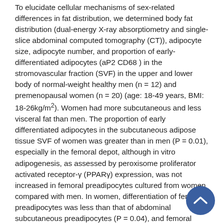To elucidate cellular mechanisms of sex-related differences in fat distribution, we determined body fat distribution (dual-energy X-ray absorptiometry and single-slice abdominal computed tomography (CT)), adipocyte size, adipocyte number, and proportion of early-differentiated adipocytes (aP2 CD68 ) in the stromovascular fraction (SVF) in the upper and lower body of normal-weight healthy men (n = 12) and premenopausal women (n = 20) (age: 18-49 years, BMI: 18-26kg/m²). Women had more subcutaneous and less visceral fat than men. The proportion of early differentiated adipocytes in the subcutaneous adipose tissue SVF of women was greater than in men (P = 0.01), especially in the femoral depot, although in vitro adipogenesis, as assessed by peroxisome proliferator activated receptor-γ (PPARγ) expression, was not increased in femoral preadipocytes cultured from women compared with men. In women, differentiation of femoral preadipocytes was less than that of abdominal subcutaneous preadipocytes (P = 0.04), and femoral subcutaneous preadipocytes tended to be more resistant to tumor necrosis factor-α (TNFα)-induced apoptosis (P = 0.06). Thus, turnover and utilization of the preadipocyte pool may be reduced in lower vs. the upper-body fat in women. Collectively, these data indicate that the microenvironment, rather than differences in inherent properties of preadipocytes